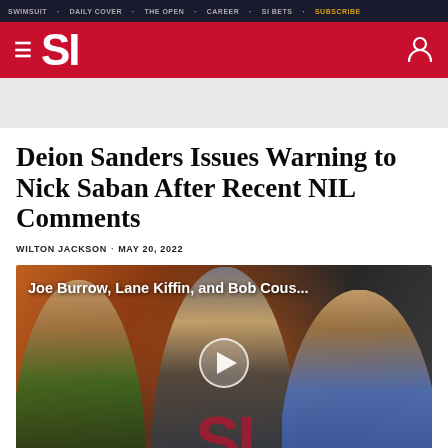SWIMSUIT · DAILY COVER · THE OPEN · CAREER · SI BETS · SUBSCRIBE
SI
Deion Sanders Issues Warning to Nick Saban After Recent NIL Comments
WILTON JACKSON · MAY 20, 2022
[Figure (screenshot): Video thumbnail showing Joe Burrow, Lane Kiffin, and Bob Cousins against an orange and dark background with SI logo watermark and play button overlay. Title reads: Joe Burrow, Lane Kiffin, and Bob Cous...]